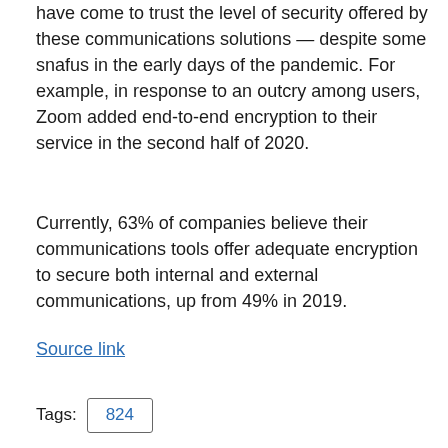have come to trust the level of security offered by these communications solutions — despite some snafus in the early days of the pandemic. For example, in response to an outcry among users, Zoom added end-to-end encryption to their service in the second half of 2020.
Currently, 63% of companies believe their communications tools offer adequate encryption to secure both internal and external communications, up from 49% in 2019.
Source link
Tags: 824